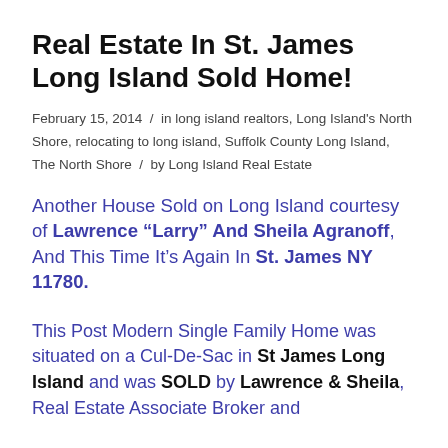Real Estate In St. James Long Island Sold Home!
February 15, 2014 / in long island realtors, Long Island's North Shore, relocating to long island, Suffolk County Long Island, The North Shore / by Long Island Real Estate
Another House Sold on Long Island courtesy of Lawrence “Larry” And Sheila Agranoff, And This Time It’s Again In St. James NY 11780.
This Post Modern Single Family Home was situated on a Cul-De-Sac in St James Long Island and was SOLD by Lawrence & Sheila, Real Estate Associate Broker and